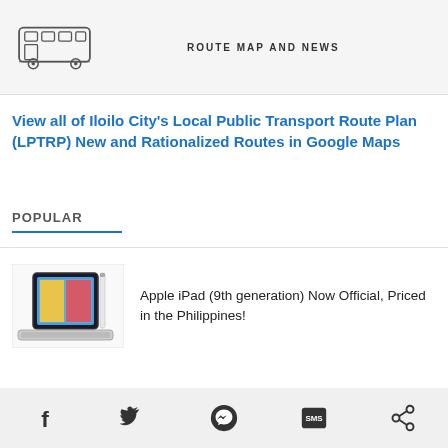[Figure (illustration): Bus outline icon on left with 'ROUTE MAP AND NEWS' text on right, shown on a light gray background banner]
View all of Iloilo City's Local Public Transport Route Plan (LPTRP) New and Rationalized Routes in Google Maps
POPULAR
[Figure (photo): Apple iPad 9th generation shown at an angle with keyboard case and Apple Pencil]
Apple iPad (9th generation) Now Official, Priced in the Philippines!
Social share icons: Facebook, Twitter, Messenger, SMS, Share